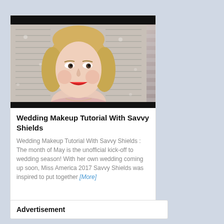[Figure (photo): Video thumbnail showing a blonde woman smiling with red lipstick, wearing a light pink top, with white window shutters in the background]
Wedding Makeup Tutorial With Savvy Shields
Wedding Makeup Tutorial With Savvy Shields : The month of May is the unofficial kick-off to wedding season! With her own wedding coming up soon, Miss America 2017 Savvy Shields was inspired to put together [More]
157,095 views
Advertisement